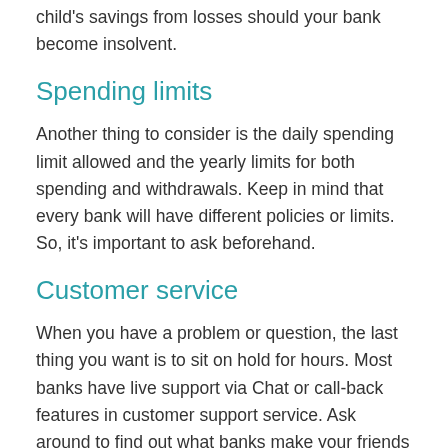child's savings from losses should your bank become insolvent.
Spending limits
Another thing to consider is the daily spending limit allowed and the yearly limits for both spending and withdrawals. Keep in mind that every bank will have different policies or limits. So, it's important to ask beforehand.
Customer service
When you have a problem or question, the last thing you want is to sit on hold for hours. Most banks have live support via Chat or call-back features in customer support service. Ask around to find out what banks make your friends happy. After all, referrals from